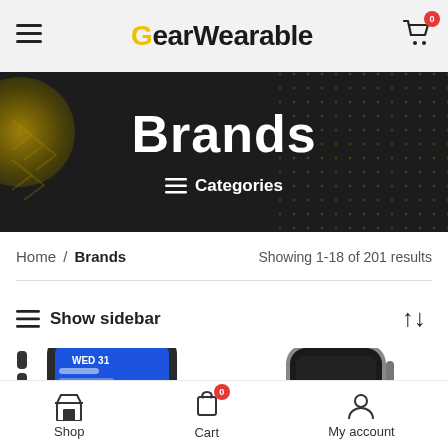GearWearable — navigation header with cart (0 items)
[Figure (screenshot): Hero banner with dark background showing 'Brands' title and Categories menu button]
Brands
≡ Categories
Home / Brands — Showing 1-18 of 201 results
≡ Show sidebar
[Figure (photo): Two smartwatch product images partially visible at bottom of page]
Shop  Cart (0)  My account